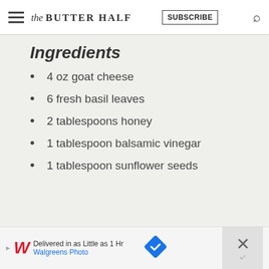The Butter Half | SUBSCRIBE
Ingredients
4 oz goat cheese
6 fresh basil leaves
2 tablespoons honey
1 tablespoon balsamic vinegar
1 tablespoon sunflower seeds
Delivered in as Little as 1 Hr | Walgreens Photo